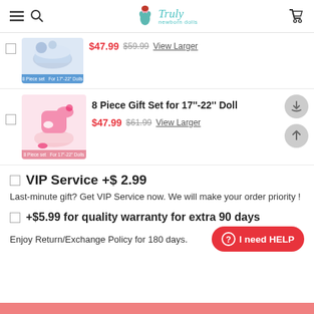Truly newborn dolls
[Figure (screenshot): Product image of blue 8-piece set for 17"-22" doll with basket, priced $47.99 (was $59.99)]
$47.99 $59.99 View Larger
[Figure (photo): Product image of pink 8 Piece Gift Set for 17"-22" doll with basket and accessories]
8 Piece Gift Set for 17"-22" Doll
$47.99 $61.99 View Larger
VIP Service +$ 2.99
Last-minute gift? Get VIP Service now. We will make your order priority !
+$5.99 for quality warranty for extra 90 days
Enjoy Return/Exchange Policy for 180 days.
[Figure (other): I need HELP red button with circle question mark icon]